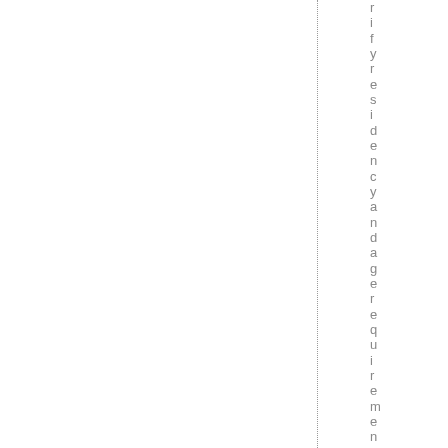rifyresidencyandagerequirement